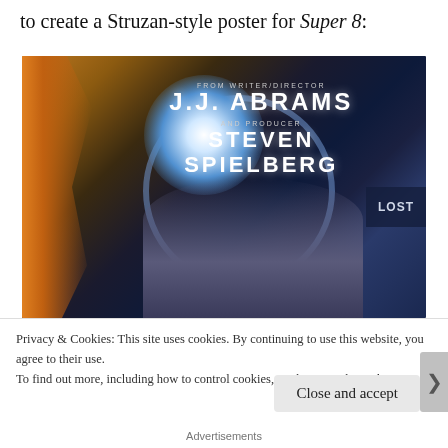to create a Struzan-style poster for Super 8:
[Figure (photo): Movie poster for Super 8, showing 'FROM WRITER/DIRECTOR J.J. ABRAMS AND PRODUCER STEVEN SPIELBERG' text over a cinematic image featuring a glowing lens, fire, a child's face, and a LOST sign in the background.]
Privacy & Cookies: This site uses cookies. By continuing to use this website, you agree to their use.
To find out more, including how to control cookies, see here: Cookie Policy
Close and accept
Advertisements